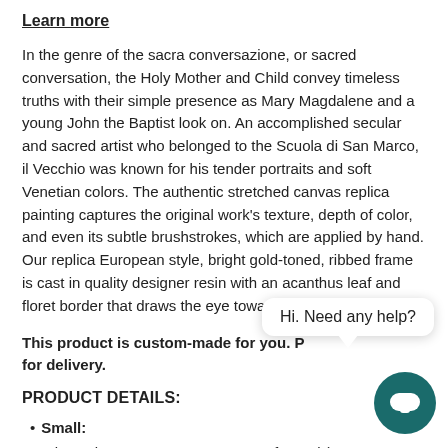Learn more
In the genre of the sacra conversazione, or sacred conversation, the Holy Mother and Child convey timeless truths with their simple presence as Mary Magdalene and a young John the Baptist look on. An accomplished secular and sacred artist who belonged to the Scuola di San Marco, il Vecchio was known for his tender portraits and soft Venetian colors. The authentic stretched canvas replica painting captures the original work's texture, depth of color, and even its subtle brushstrokes, which are applied by hand. Our replica European style, bright gold-toned, ribbed frame is cast in quality designer resin with an acanthus leaf and floret border that draws the eye toward the beautiful image.
This product is custom-made for you. P[...] for delivery.
PRODUCT DETAILS:
Small:
Dimensions: 17.25" W x 14.25" H. framed (9.25" W x 6.25